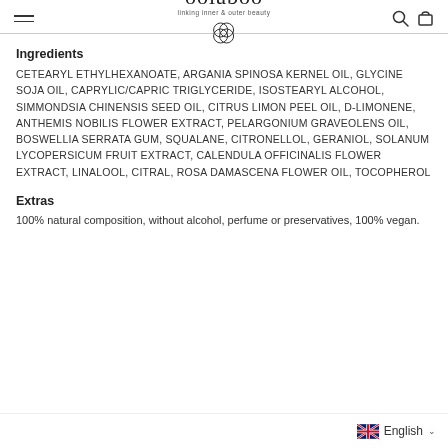oolaboo - linking inner & outer beauty
Ingredients
CETEARYL ETHYLHEXANOATE, ARGANIA SPINOSA KERNEL OIL, GLYCINE SOJA OIL, CAPRYLIC/CAPRIC TRIGLYCERIDE, ISOSTEARYL ALCOHOL, SIMMONDSIA CHINENSIS SEED OIL, CITRUS LIMON PEEL OIL, D-LIMONENE, ANTHEMIS NOBILIS FLOWER EXTRACT, PELARGONIUM GRAVEOLENS OIL, BOSWELLIA SERRATA GUM, SQUALANE, CITRONELLOL, GERANIOL, SOLANUM LYCOPERSICUM FRUIT EXTRACT, CALENDULA OFFICINALIS FLOWER EXTRACT, LINALOOL, CITRAL, ROSA DAMASCENA FLOWER OIL, TOCOPHEROL
Extras
100% natural composition, without alcohol, perfume or preservatives, 100% vegan.
English